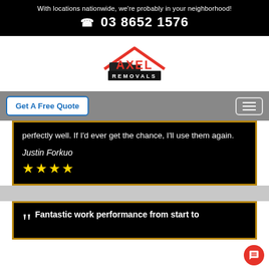With locations nationwide, we're probably in your neighborhood!
☎ 03 8652 1576
[Figure (logo): Axel Removals logo with red roof/house outline, truck icon, and red AXEL text above black REMOVALS text]
Get A Free Quote
perfectly well. If I'd ever get the chance, I'll use them again.
Justin Forkuo
★★★★
Fantastic work performance from start to